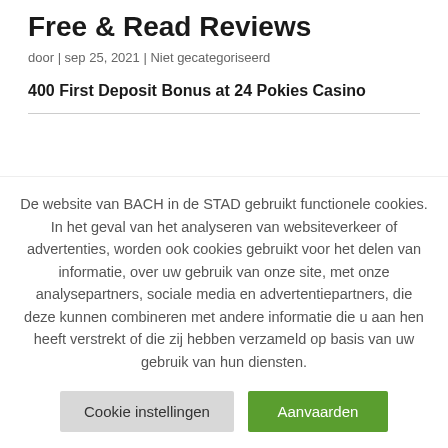Free & Read Reviews
door | sep 25, 2021 | Niet gecategoriseerd
400 First Deposit Bonus at 24 Pokies Casino
De website van BACH in de STAD gebruikt functionele cookies. In het geval van het analyseren van websiteverkeer of advertenties, worden ook cookies gebruikt voor het delen van informatie, over uw gebruik van onze site, met onze analysepartners, sociale media en advertentiepartners, die deze kunnen combineren met andere informatie die u aan hen heeft verstrekt of die zij hebben verzameld op basis van uw gebruik van hun diensten.
Cookie instellingen
Aanvaarden